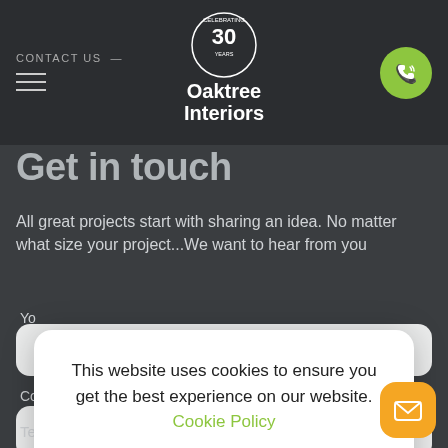CONTACT US | Oaktree Interiors celebrating 30 years
Get in touch
All great projects start with sharing an idea. No matter what size your project...We want to hear from you
Yo[ur Name]
Co[mpany]
Telephone
This website uses cookies to ensure you get the best experience on our website. Cookie Policy
ACCEPT →